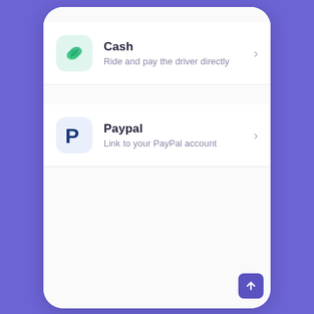[Figure (screenshot): Mobile app screenshot showing a payment method selection screen with two options: Cash (Ride and pay the driver directly) and Paypal (Link to your PayPal account), displayed inside a white phone card on a purple background.]
Cash
Ride and pay the driver directly
Paypal
Link to your PayPal account